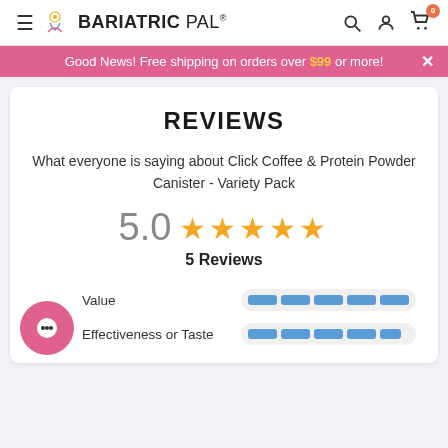BariatricPal
Good News! Free shipping on orders over $99 or more!
REVIEWS
What everyone is saying about Click Coffee & Protein Powder Canister - Variety Pack
5.0 ★★★★★
5 Reviews
Value
Effectiveness or Taste